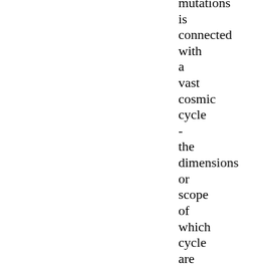mutations is connected with a vast cosmic cycle - the dimensions or scope of which cycle are so vast that terrestrial